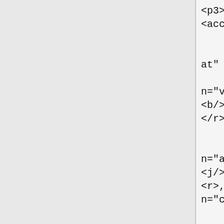<p3><sg>$ ^seg<prn><ref>
<acc>$ ^um<pr>$

        <e lm="halda fram,
at" c="">
            <p><l>halda<s
n="vblex"/></l><r>halda<g>
<b/>fram</g><s n="vblex"/>
</r></p>
            <i><t/><j/></i>
            <p><l>fram<s
n="adv"/><j/>,<s n="cm"/>
<j/>at<s n="cnjsub"/></l>
<r>,<s n="cm"/><j/>at<s
n="cnjsub"/><j/></r></p>
            <i><j/></i>
        </e>


$ echo "^at<cnjsub>$
^*leidningarnir$
^halda<vblex><inf>$
^fram<adv>$^,<cm>$
^at<cnjsub>$" |
~/source/apertium/branches/ape